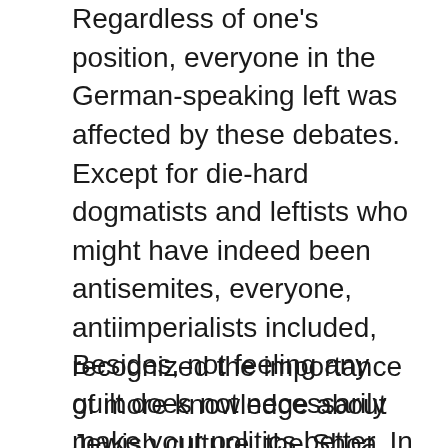Regardless of one's position, everyone in the German-speaking left was affected by these debates. Except for die-hard dogmatists and leftists who might have indeed been antisemites, everyone, antiimperialists included, recognized the importance of more knowledge about Jewish culture, the Shoa, and the British Mandate of Palestine. Now, politics driven by guilt are usually bad politics (Antideutsche are a prime example, even if they'll hate me for saying it). Yet, guilt can motivate you to learn things. In that sense, it doesn't do much harm.
Besides, not feeling any guilt does not necessarily make your politics better. In Sweden, where I have been living for the past fifteen years, antisemitism is a non-